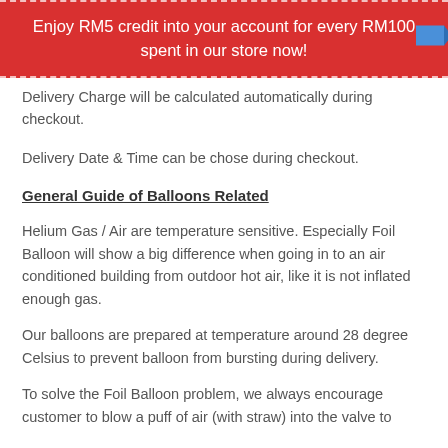Enjoy RM5 credit into your account for every RM100 spent in our store now!
Delivery Charge will be calculated automatically during checkout.
Delivery Date & Time can be chose during checkout.
General Guide of Balloons Related
Helium Gas / Air are temperature sensitive. Especially Foil Balloon will show a big difference when going in to an air conditioned building from outdoor hot air, like it is not inflated enough gas.
Our balloons are prepared at temperature around 28 degree Celsius to prevent balloon from bursting during delivery.
To solve the Foil Balloon problem, we always encourage customer to blow a puff of air (with straw) into the valve to